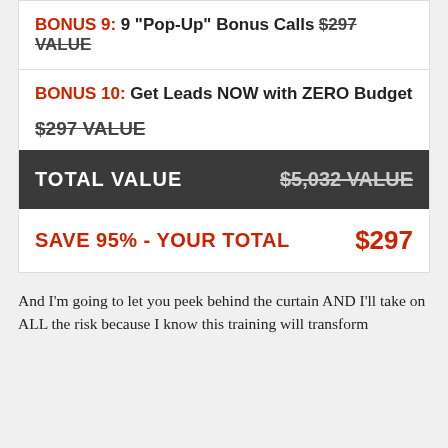BONUS 9: 9 "Pop-Up" Bonus Calls $297 VALUE
BONUS 10: Get Leads NOW with ZERO Budget $297 VALUE
| TOTAL VALUE | $5,032 VALUE |
| --- | --- |
SAVE 95% - YOUR TOTAL $297
And I'm going to let you peek behind the curtain AND I'll take on ALL the risk because I know this training will transform